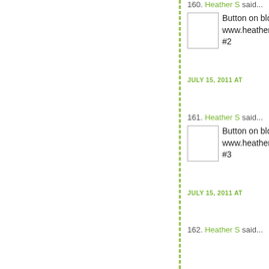160. Heather S said... Button on blog www.heatherandavery... #2 JULY 15, 2011 AT
161. Heather S said... Button on blog www.heatherandavery... #3 JULY 15, 2011 AT
162. Heather S said... Button on blog www.heatherandavery... #4 JULY 15, 2011 AT
163. Heather S said... Button on blog www.heatherandavery...